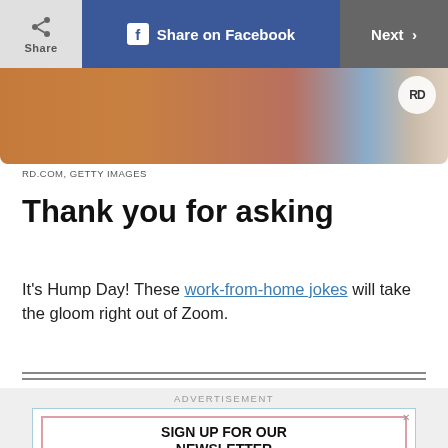Share | Share on Facebook | Next
[Figure (photo): Cropped photo of a brown fluffy dog with a blue leash against a warm background. RD logo badge visible in top-right corner.]
RD.COM, GETTY IMAGES
Thank you for asking
It's Hump Day! These work-from-home jokes will take the gloom right out of Zoom.
ADVERTISEMENT
SIGN UP FOR OUR NEWSLETTER
Get articles sent right to your inbox.